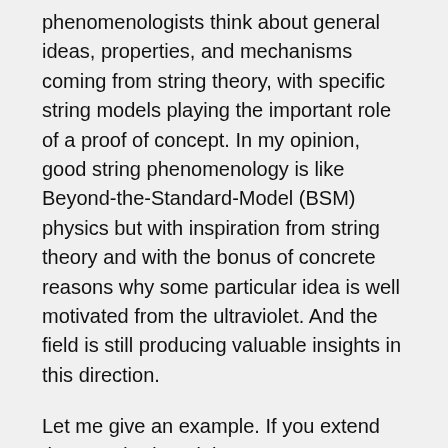phenomenologists think about general ideas, properties, and mechanisms coming from string theory, with specific string models playing the important role of a proof of concept. In my opinion, good string phenomenology is like Beyond-the-Standard-Model (BSM) physics but with inspiration from string theory and with the bonus of concrete reasons why some particular idea is well motivated from the ultraviolet. And the field is still producing valuable insights in this direction.
Let me give an example. If you extend the Standard Model symmetry groups with a global U(1) symmetry to forbid some bad operators, then often right-handed neutrino